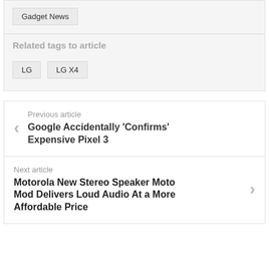Gadget News
Related tags to article
LG
LG X4
Previous article
Google Accidentally 'Confirms' Expensive Pixel 3
Next article
Motorola New Stereo Speaker Moto Mod Delivers Loud Audio At a More Affordable Price